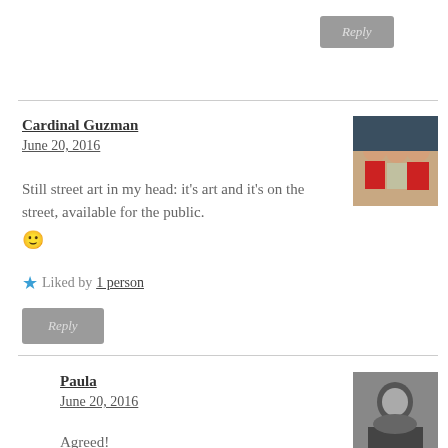Reply
Cardinal Guzman
June 20, 2016
[Figure (photo): Avatar photo of Cardinal Guzman showing young children in red and cream clothing]
Still street art in my head: it's art and it's on the street, available for the public. 🙂
Liked by 1 person
Reply
Paula
June 20, 2016
[Figure (photo): Avatar photo of Paula, black and white portrait]
Agreed!
Liked by 1 person